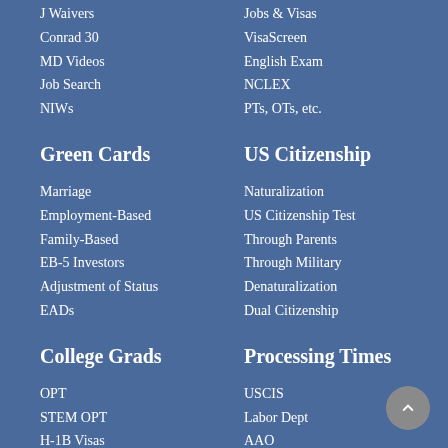J Waivers
Jobs & Visas
Conrad 30
VisaScreen
MD Videos
English Exam
Job Search
NCLEX
NIWs
PTs, OTs, etc.
Green Cards
US Citizenship
Marriage
Naturalization
Employment-Based
US Citizenship Test
Family-Based
Through Parents
EB-5 Investors
Through Military
Adjustment of Status
Denaturalization
EADs
Dual Citizenship
College Grads
Processing Times
OPT
USCIS
STEM OPT
Labor Dept
H-1B Visas
AAO
EB Green Cards
Visas